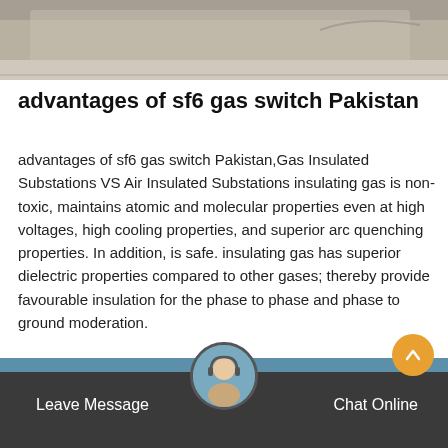[Figure (photo): Top portion of a photo showing machinery or equipment, partially cropped]
advantages of sf6 gas switch Pakistan
advantages of sf6 gas switch Pakistan,Gas Insulated Substations VS Air Insulated Substations insulating gas is non-toxic, maintains atomic and molecular properties even at high voltages, high cooling properties, and superior arc quenching properties. In addition, is safe. insulating gas has superior dielectric properties compared to other gases; thereby provide favourable insulation for the phase to phase and phase to ground moderation.
Get Price
Leave Message
Chat Online